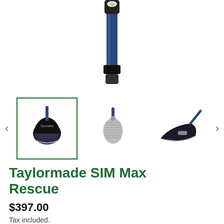[Figure (photo): Close-up of a TaylorMade SIM Max Rescue golf club shaft and hosel, blue shaft on white background]
[Figure (photo): Thumbnail gallery of TaylorMade SIM Max Rescue golf club from three angles: front view (selected, with green border), face-on head view, and sole/back view]
Taylormade SIM Max Rescue
$397.00
Tax included.